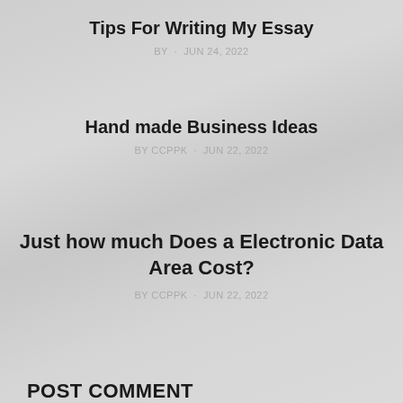Tips For Writing My Essay
BY · JUN 24, 2022
Hand made Business Ideas
BY CCPPK · JUN 22, 2022
Just how much Does a Electronic Data Area Cost?
BY CCPPK · JUN 22, 2022
POST COMMENT